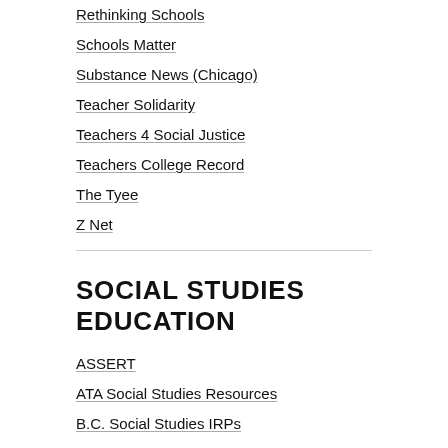Rethinking Schools
Schools Matter
Substance News (Chicago)
Teacher Solidarity
Teachers 4 Social Justice
Teachers College Record
The Tyee
Z Net
SOCIAL STUDIES EDUCATION
ASSERT
ATA Social Studies Resources
B.C. Social Studies IRPs
BCTF Social Justice Resources
Canadian Encyclopedia (Historica)
Canadian Social Studies
Canadian Social Studies Super Site
Center for Social Studies